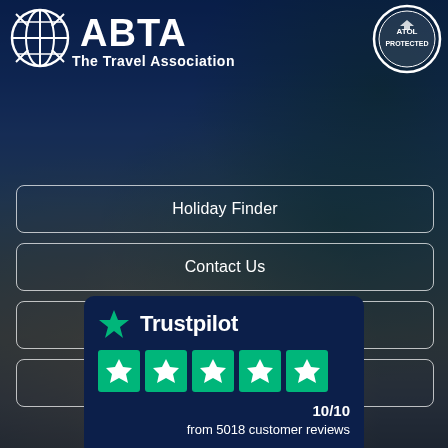[Figure (logo): ABTA The Travel Association logo (white) on dark blue background with tropical beach scene]
[Figure (logo): ATOL Protected circular badge/logo in upper right]
Holiday Finder
Contact Us
Latest Blog
Customer Reviews
[Figure (logo): Trustpilot card with green star logo, 5 green star rating boxes, score 10/10 from 5018 customer reviews]